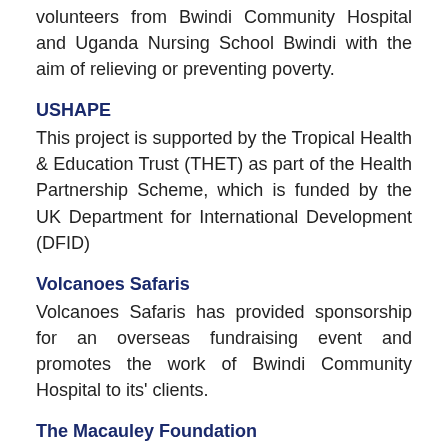volunteers from Bwindi Community Hospital and Uganda Nursing School Bwindi with the aim of relieving or preventing poverty.
USHAPE
This project is supported by the Tropical Health & Education Trust (THET) as part of the Health Partnership Scheme, which is funded by the UK Department for International Development (DFID)
Volcanoes Safaris
Volcanoes Safaris has provided sponsorship for an overseas fundraising event and promotes the work of Bwindi Community Hospital to its' clients.
The Macauley Foundation
The McCauley Foundation has given annual support to the child health and Surgical program Area at Bwindi Community Hospital.